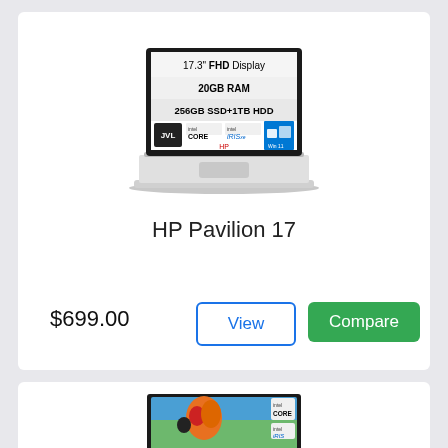[Figure (photo): HP Pavilion 17 laptop product image showing screen with specs: 17.3 FHD Display, 20GB RAM, 256GB SSD+1TB HDD, Intel Core, Intel Iris Xe, Windows 11]
HP Pavilion 17
$699.00
[Figure (photo): Second laptop product image showing a colorful landscape with hot air balloons on screen, Intel Core and Intel Iris Xe badges visible]